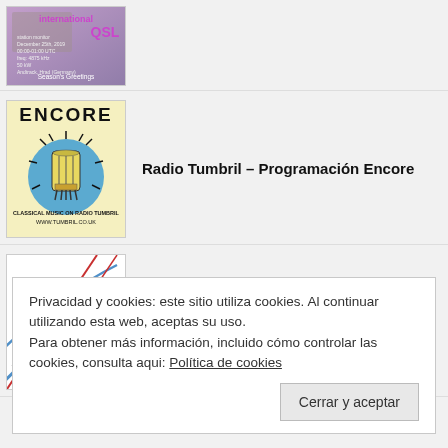[Figure (photo): QSL card image with purple/pink background showing 'international' text and QSL label, Season's Greetings]
[Figure (illustration): ENCORE logo - classical music on Radio Tumbril, shows a vacuum tube on blue circle, www.tumbril.co.uk]
Radio Tumbril – Programación Encore
[Figure (illustration): Shortwave Radiogram logo with diagonal lines and WAVE RADIO text]
Shortwave Radiogram, del 4 al 9/8: programa 266
Privacidad y cookies: este sitio utiliza cookies. Al continuar utilizando esta web, aceptas su uso.
Para obtener más información, incluido cómo controlar las cookies, consulta aqui: Política de cookies
Cerrar y aceptar